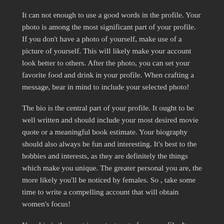It can not enough to use a good words in the profile. Your photo is among the most significant part of your profile. If you don't have a photo of yourself, make use of a picture of yourself. This will likely make your account look better to others. After the photo, you can set your favorite food and drink in your profile. When crafting a message, bear in mind to include your selected photo!
The bio is the central part of your profile. It ought to be well written and should include your most desired movie quote or a meaningful book estimate. Your biography should also always be fun and interesting. It's best to the hobbies and interests, as they are definitely the things which make you unique. The greater personal you are, the more likely you'll be noticed by females. So , take some time to write a compelling account that will obtain women's focus!
Your bio is the most important part of your profile. It should be as interesting as is feasible, yet still include your biography and a short description of yourself. Should